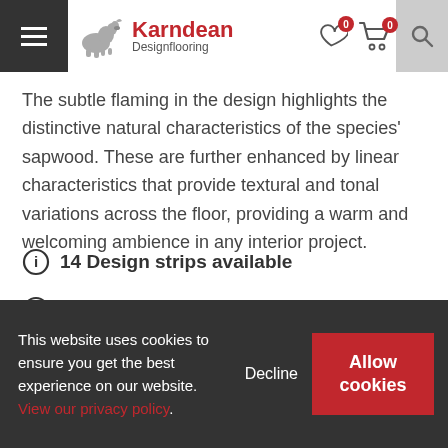Karndean Designflooring
The subtle flaming in the design highlights the distinctive natural characteristics of the species' sapwood. These are further enhanced by linear characteristics that provide textural and tonal variations across the floor, providing a warm and welcoming ambience in any interior project.
14 Design strips available
3 Borders available
This website uses cookies to ensure you get the best experience on our website. View our privacy policy.